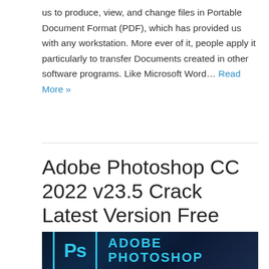us to produce, view, and change files in Portable Document Format (PDF), which has provided us with any workstation. More ever of it, people apply it particularly to transfer Documents created in other software programs. Like Microsoft Word… Read More »
Adobe Photoshop CC 2022 v23.5 Crack Latest Version Free Download
[Figure (photo): Adobe Photoshop logo on dark blue background showing 'Ps' in a cyan/teal outlined box with 'ADOBE PHOTOSHOP' text in bold cyan letters to the right]